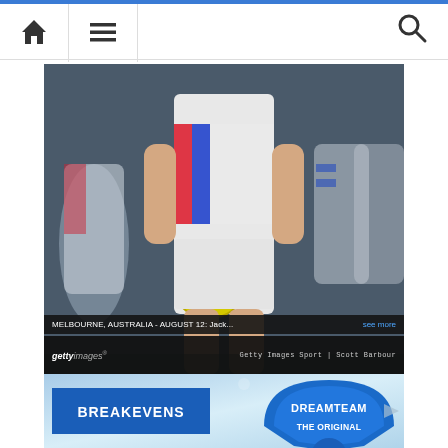[Figure (screenshot): Website navigation bar with home icon, hamburger menu icon, and search icon on a white background with blue top strip]
[Figure (photo): AFL football player in white Western Bulldogs kit holding a yellow Sherrin football, with opposing North Melbourne players in blue and white in background. Getty Images sports photo by Scott Barbour.]
MELBOURNE, AUSTRALIA - AUGUST 12: Jack...   see more
gettyimages®   Getty Images Sport | Scott Barbour
[Figure (infographic): Promotional banner with blue background showing BREAKEVENS text on blue box on left and DREAMTEAM THE ORIGINAL badge/logo on right]